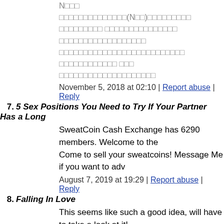Thai text (rendered as boxes) with (N□□) reference lines
November 5, 2018 at 02:10 | Report abuse | Reply
7. 5 Sex Positions You Need to Try If Your Partner Has a Long
SweatCoin Cash Exchange has 6290 members. Welcome to the... Come to sell your sweatcoins! Message Me if you want to adv...
August 7, 2019 at 19:29 | Report abuse | Reply
8. Falling In Love
This seems like such a good idea, will have to take a look at it!
http://diceview.com/7-reasons-falling-in-love-for-the-second-ti
October 30, 2019 at 08:59 | Report abuse | Reply
9. Maurita Hester
Lorsque ma femme me fait un cadeau, j'ai deux surprises : d'ab payer. https://www.cialis20.fr Some distillers of alcohol make.